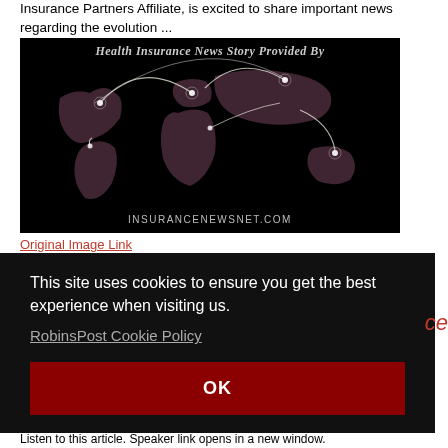Insurance Partners Affiliate, is excited to share important news regarding the evolution ...
[Figure (map): Dark world map with glowing connection arcs between continents. Text at top: 'Health Insurance News Story Provided By'. Text at bottom: 'INSURANCENEWSNET.COM']
Original Image Link
This site uses cookies to ensure you get the best experience when visiting us.
RobinsPost Cookie Policy
OK
ce
Listen to this article. Speaker link opens in a new window.